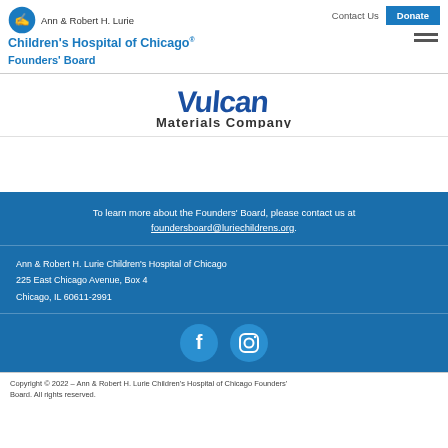Ann & Robert H. Lurie Children's Hospital of Chicago Founders' Board | Contact Us | Donate
[Figure (logo): Vulcan Materials Company logo in blue]
To learn more about the Founders' Board, please contact us at foundersboard@luriechildrens.org.
Ann & Robert H. Lurie Children's Hospital of Chicago
225 East Chicago Avenue, Box 4
Chicago, IL 60611-2991
[Figure (infographic): Facebook and Instagram social media icons]
Copyright © 2022 – Ann & Robert H. Lurie Children's Hospital of Chicago Founders' Board. All rights reserved.